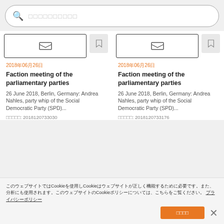🔍 □□□□□□□□□□ (search bar placeholder)
[Figure (screenshot): Two article cards with image placeholders and bookmark buttons]
2018年06月26日
Faction meeting of the parliamentary parties
26 June 2018, Berlin, Germany: Andrea Nahles, party whip of the Social Democratic Party (SPD)...
画像番号: 2018120733030
2018年06月26日
Faction meeting of the parliamentary parties
26 June 2018, Berlin, Germany: Andrea Nahles, party whip of the Social Democratic Party (SPD)...
画像番号: 2018120733176
[Figure (photo): Photo of people at a political meeting, partial view]
[Figure (photo): Photo of Andrea Nahles in pink jacket]
このウェブサイトではCookieを使用しCookieはウェブサイトが正しく機能するために必要です。また、分析にも使用されます。このウェブサイトのCookieポリシーについては、こちらをご覧ください。 プライバシーポリシー